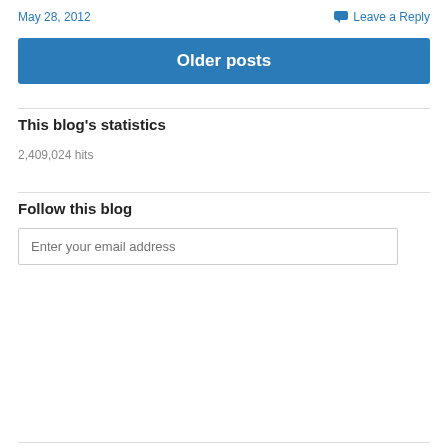May 28, 2012
Leave a Reply
Older posts
This blog's statistics
2,409,024 hits
Follow this blog
Enter your email address
Sign me up!